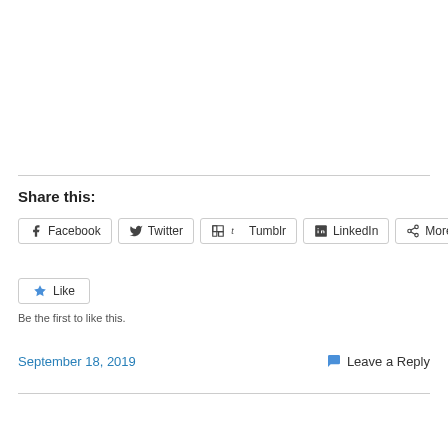Share this:
Facebook  Twitter  Tumblr  LinkedIn  More
Like
Be the first to like this.
September 18, 2019
Leave a Reply